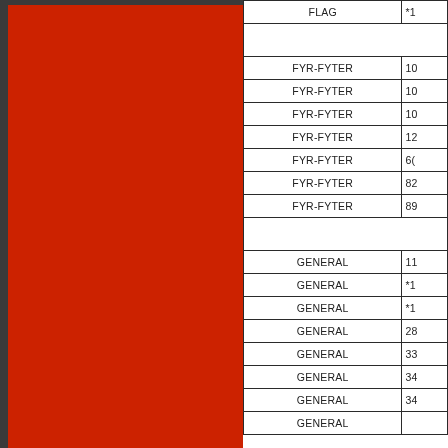[Figure (other): Large red rectangular panel filling the left portion of the page, with dark gray border/background visible at edges.]
| Brand | Value |
| --- | --- |
| FLAG | *1 |
|  |  |
| FYR-FYTER | 10 |
| FYR-FYTER | 10 |
| FYR-FYTER | 10 |
| FYR-FYTER | 12 |
| FYR-FYTER | 6( |
| FYR-FYTER | 82 |
| FYR-FYTER | 89 |
|  |  |
| GENERAL | 11 |
| GENERAL | *1 |
| GENERAL | *1 |
| GENERAL | 28 |
| GENERAL | 33 |
| GENERAL | 34 |
| GENERAL | 34 |
| GENERAL |  |